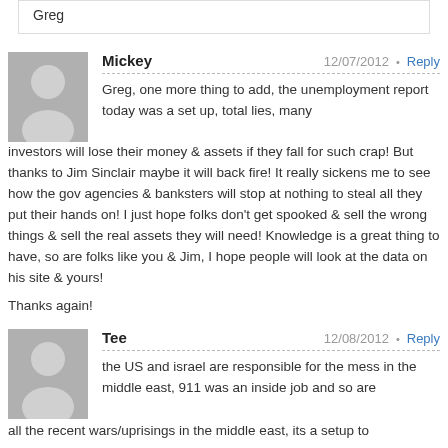Greg
Mickey
Greg, one more thing to add, the unemployment report today was a set up, total lies, many investors will lose their money & assets if they fall for such crap! But thanks to Jim Sinclair maybe it will back fire! It really sickens me to see how the gov agencies & banksters will stop at nothing to steal all they put their hands on! I just hope folks don't get spooked & sell the wrong things & sell the real assets they will need! Knowledge is a great thing to have, so are folks like you & Jim, I hope people will look at the data on his site & yours!

Thanks again!
Tee
the US and israel are responsible for the mess in the middle east, 911 was an inside job and so are all the recent wars/uprisings in the middle east, its a setup to